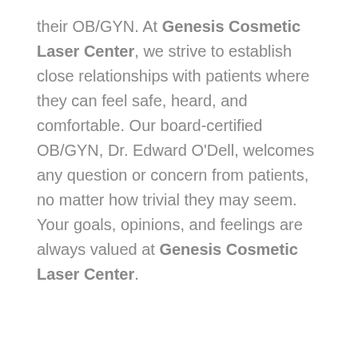their OB/GYN. At Genesis Cosmetic Laser Center, we strive to establish close relationships with patients where they can feel safe, heard, and comfortable. Our board-certified OB/GYN, Dr. Edward O'Dell, welcomes any question or concern from patients, no matter how trivial they may seem. Your goals, opinions, and feelings are always valued at Genesis Cosmetic Laser Center.